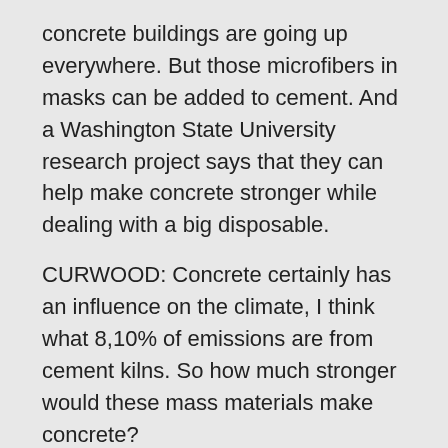concrete buildings are going up everywhere. But those microfibers in masks can be added to cement. And a Washington State University research project says that they can help make concrete stronger while dealing with a big disposable.
CURWOOD: Concrete certainly has an influence on the climate, I think what 8,10% of emissions are from cement kilns. So how much stronger would these mass materials make concrete?
DYKSTRA: There's one estimate that says possibly nearly 50% stronger. Those masked materials can help the builders in addition to helping the disposers throw away less.
CURWOOD: Yeah, and a great thing about this possibility is, is that concrete breaks down. You know, you may